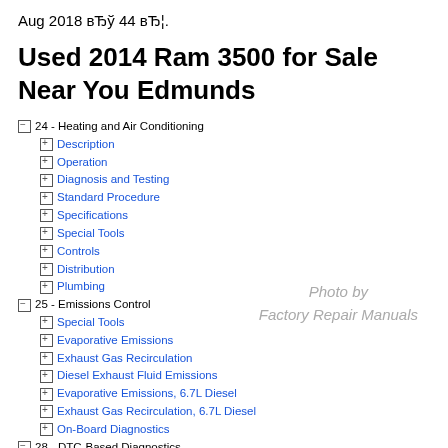Aug 2018 вЂў 44 вЂ¦.
Used 2014 Ram 3500 for Sale Near You Edmunds
⊟ 24 - Heating and Air Conditioning
⊞ Description
⊞ Operation
⊞ Diagnosis and Testing
⊞ Standard Procedure
⊞ Specifications
⊞ Special Tools
⊞ Controls
⊞ Distribution
⊞ Plumbing
⊟ 25 - Emissions Control
⊞ Special Tools
⊞ Evaporative Emissions
⊞ Exhaust Gas Recirculation
⊞ Diesel Exhaust Fluid Emissions
⊞ Evaporative Emissions, 6.7L Diesel
⊞ Exhaust Gas Recirculation, 6.7L Diesel
⊞ On-Board Diagnostics
⊟ 28 - DTC-Based Diagnostics
⊞ AMPLIFIER (AMP), Base
⊞ CLUSTER, Instrument
⊞ CONTROLLER, Occupant Restraint (ORC)
⊞ HVAC
⊞ MODULE, Antilock Brake (ABS)
⊞ MODULE, Body Control (BCM)
[Figure (other): Watermark reading 'Photo by Factory Repair Manuals']